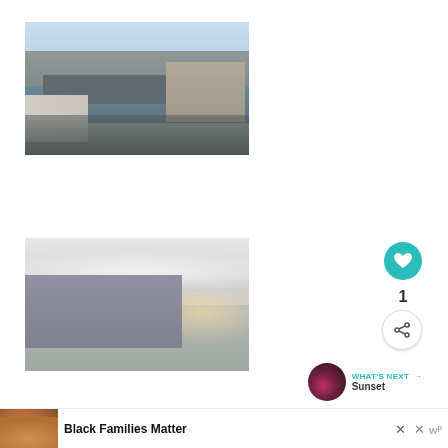[Figure (photo): Aerial/elevated view of harbor with naval ships docked along pier, city skyline in background]
[Figure (photo): Naval vessel at sea during sunset/dusk, calm water, dramatic cloudy sky]
1
WHAT'S NEXT → Sunset
Black Families Matter